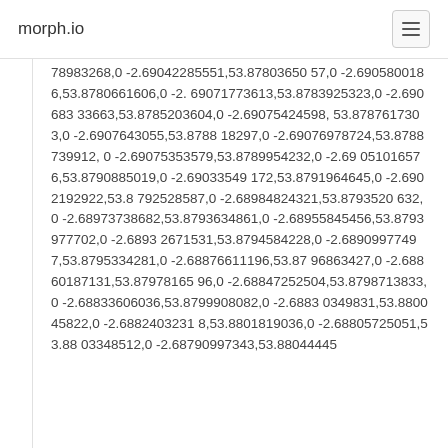morph.io
78983268,0 -2.69042285551,53.87803650 57,0 -2.6905800186,53.8780661606,0 -2.69071773613,53.8783925323,0 -2.690683 33663,53.8785203604,0 -2.69075424598,53.8787617303,0 -2.6907643055,53.8788 18297,0 -2.69076978724,53.8788739912,0 -2.69075353579,53.8789954232,0 -2.69 051016576,53.8790885019,0 -2.69033549 172,53.8791964645,0 -2.6902192922,53.8 792528587,0 -2.68984824321,53.8793520 632,0 -2.68973738682,53.8793634861,0 -2.68955845456,53.8793977702,0 -2.6893 2671531,53.8794584228,0 -2.6890997749 7,53.8795334281,0 -2.68876611196,53.87 96863427,0 -2.68860187131,53.87978165 96,0 -2.68847252504,53.8798713833,0 -2.68833606036,53.8799908082,0 -2.6883 0349831,53.880045822,0 -2.6882403231 8,53.8801819036,0 -2.68805725051,53.88 03348512,0 -2.68790997343,53.88044445